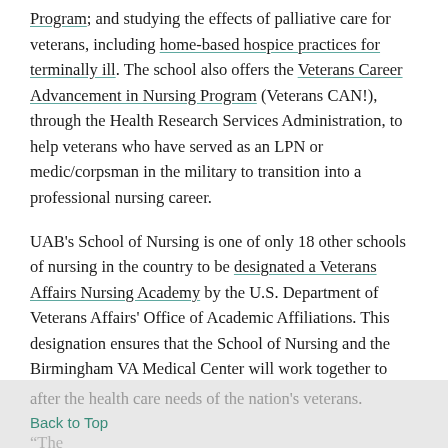Program; and studying the effects of palliative care for veterans, including home-based hospice practices for terminally ill. The school also offers the Veterans Career Advancement in Nursing Program (Veterans CAN!), through the Health Research Services Administration, to help veterans who have served as an LPN or medic/corpsman in the military to transition into a professional nursing career.
UAB's School of Nursing is one of only 18 other schools of nursing in the country to be designated a Veterans Affairs Nursing Academy by the U.S. Department of Veterans Affairs' Office of Academic Affiliations. This designation ensures that the School of Nursing and the Birmingham VA Medical Center will work together to train compassionate, highly educated nurses to look after the health care needs of the nation's veterans.
Back to Top
“The